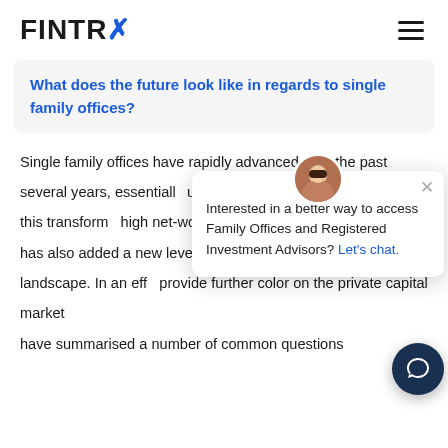FINTRX
What does the future look like in regards to single family offices?
Single family offices have rapidly advanced over the past several years, essentially ultra-wealthy manage and Although this transform high net-worth families world, this evolvement has also added a new level of complexity to an already murky landscape. In an eff provide further color on the private capital markets have summarised a number of common questions
[Figure (screenshot): Chat popup widget with a female avatar photo, close button (×), text reading 'Interested in a better way to access Family Offices and Registered Investment Advisors? Let's chat.' and a floating dark blue chat button at the bottom right.]